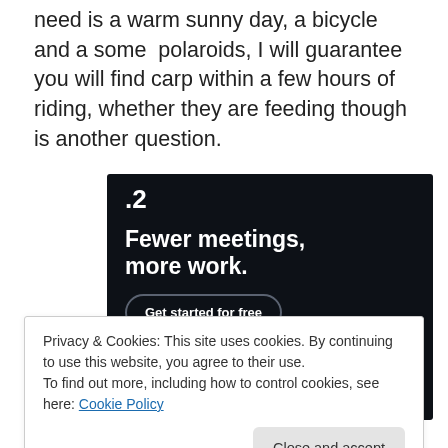need is a warm sunny day, a bicycle and a some polaroids, I will guarantee you will find carp within a few hours of riding, whether they are feeding though is another question.
[Figure (screenshot): Dark-themed advertisement banner with '.2' in top-left, headline 'Fewer meetings, more work.' and a 'Get started for free' button.]
Privacy & Cookies: This site uses cookies. By continuing to use this website, you agree to their use.
To find out more, including how to control cookies, see here: Cookie Policy
Close and accept